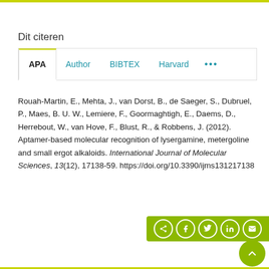Dit citeren
APA  Author  BIBTEX  Harvard  ...
Rouah-Martin, E., Mehta, J., van Dorst, B., de Saeger, S., Dubruel, P., Maes, B. U. W., Lemiere, F., Goormaghtigh, E., Daems, D., Herrebout, W., van Hove, F., Blust, R., & Robbens, J. (2012). Aptamer-based molecular recognition of lysergamine, metergoline and small ergot alkaloids. International Journal of Molecular Sciences, 13(12), 17138-59. https://doi.org/10.3390/ijms131217138
[Figure (other): Social share bar with icons for share, Facebook, Twitter, LinkedIn, email, and a scroll-to-top button]